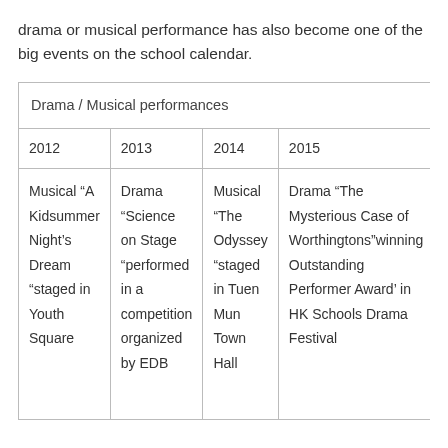drama or musical performance has also become one of the big events on the school calendar.
| Drama / Musical performances |  |  |  |
| --- | --- | --- | --- |
| 2012 | 2013 | 2014 | 2015 |
| Musical “A Kidsummer Night’s Dream “staged in Youth Square | Drama “Science on Stage “performed in a competition organized by EDB | Musical “The Odyssey “staged in Tuen Mun Town Hall | Drama “The Mysterious Case of Worthingtons”winning Outstanding Performer Award’ in HK Schools Drama Festival |